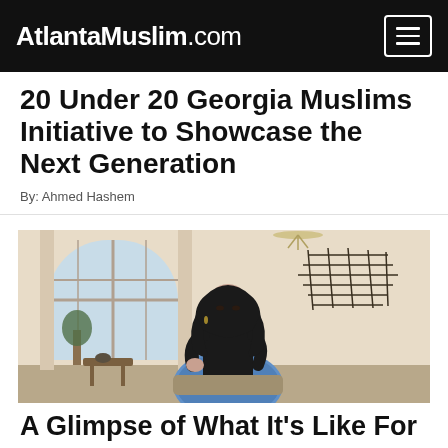AtlantaMuslim.com
20 Under 20 Georgia Muslims Initiative to Showcase the Next Generation
By: Ahmed Hashem
[Figure (photo): Young woman wearing a black hijab and blue patterned dress sitting in an elegant interior room with arched windows and decorative wall art]
A Glimpse of What It's Like For